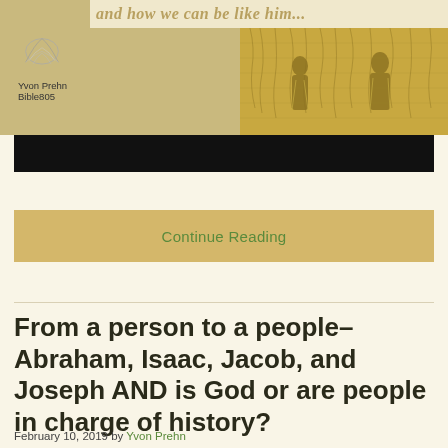[Figure (illustration): Top portion of a blog page header showing a partial title text in golden/tan color, a feather icon with author name 'Yvon Prehn' and 'Bible805', a biblical engraving scene on the right side, and a black banner bar below.]
Continue Reading
From a person to a people–Abraham, Isaac, Jacob, and Joseph AND is God or are people in charge of history?
February 10, 2019 by Yvon Prehn